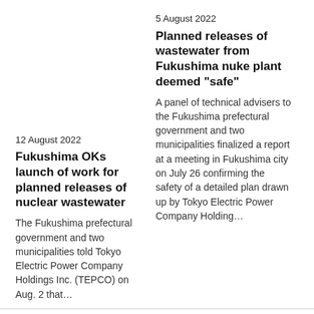5 August 2022
Planned releases of wastewater from Fukushima nuke plant deemed "safe"
A panel of technical advisers to the Fukushima prefectural government and two municipalities finalized a report at a meeting in Fukushima city on July 26 confirming the safety of a detailed plan drawn up by Tokyo Electric Power Company Holding…
12 August 2022
Fukushima OKs launch of work for planned releases of nuclear wastewater
The Fukushima prefectural government and two municipalities told Tokyo Electric Power Company Holdings Inc. (TEPCO) on Aug. 2 that…